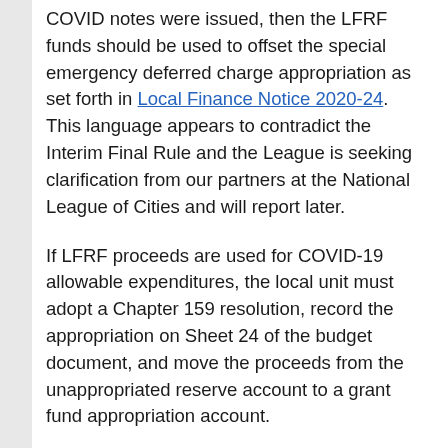COVID notes were issued, then the LFRF funds should be used to offset the special emergency deferred charge appropriation as set forth in Local Finance Notice 2020-24. This language appears to contradict the Interim Final Rule and the League is seeking clarification from our partners at the National League of Cities and will report later.
If LFRF proceeds are used for COVID-19 allowable expenditures, the local unit must adopt a Chapter 159 resolution, record the appropriation on Sheet 24 of the budget document, and move the proceeds from the unappropriated reserve account to a grant fund appropriation account.
When LFRF proceeds are utilized for a